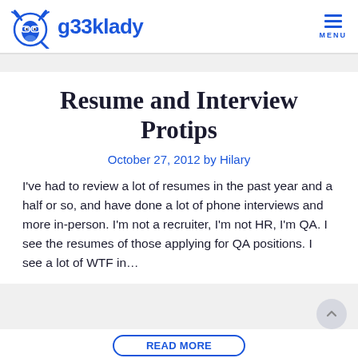g33klady — MENU
Resume and Interview Protips
October 27, 2012 by Hilary
I've had to review a lot of resumes in the past year and a half or so, and have done a lot of phone interviews and more in-person. I'm not a recruiter, I'm not HR, I'm QA. I see the resumes of those applying for QA positions. I see a lot of WTF in…